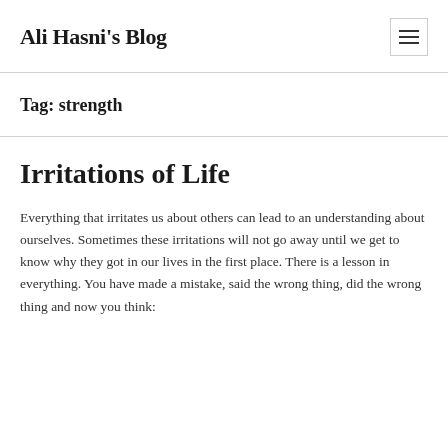Ali Hasni's Blog
Tag: strength
Irritations of Life
Everything that irritates us about others can lead to an understanding about ourselves. Sometimes these irritations will not go away until we get to know why they got in our lives in the first place. There is a lesson in everything. You have made a mistake, said the wrong thing, did the wrong thing and now you think: